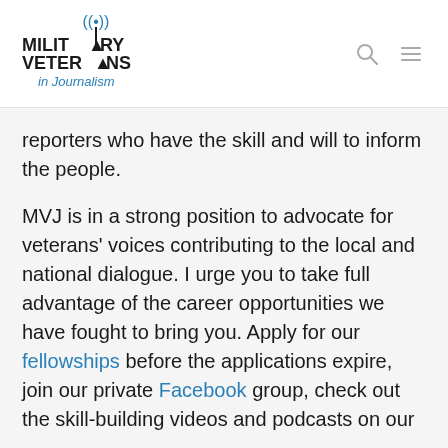Military Veterans in Journalism
reporters who have the skill and will to inform the people.
MVJ is in a strong position to advocate for veterans' voices contributing to the local and national dialogue. I urge you to take full advantage of the career opportunities we have fought to bring you. Apply for our fellowships before the applications expire, join our private Facebook group, check out the skill-building videos and podcasts on our